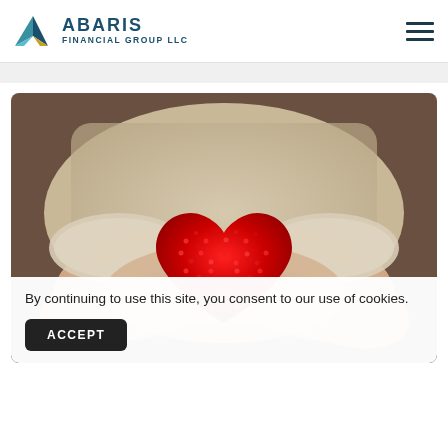[Figure (logo): Abaris Financial Group LLC logo with geometric arrow/compass shape in teal, blue, and gold colors, with company name in dark teal to the right]
[Figure (photo): Close-up photo of two hands in knitted sweater sleeves cupping a red knitted heart shape]
By continuing to use this site, you consent to our use of cookies.
ACCEPT